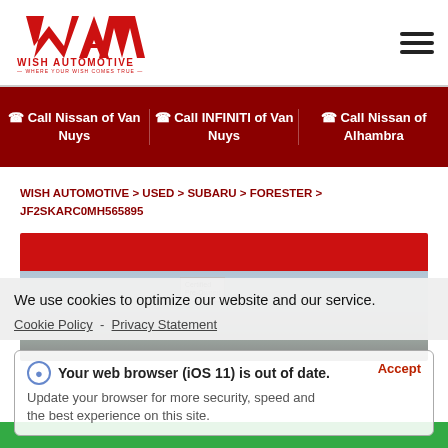[Figure (logo): Wish Automotive logo — red WA monogram above text 'WISH AUTOMOTIVE — WHERE YOUR WISH COMES TRUE —']
[Figure (other): Hamburger menu icon — three horizontal dark lines]
Call Nissan of Van Nuys
Call INFINITI of Van Nuys
Call Nissan of Alhambra
WISH AUTOMOTIVE > USED > SUBARU > FORESTER > JF2SKARC0MH565895
[Figure (photo): Partial photo of a Subaru Forester at a dealership with a 'Certified Pre-Owned' sign visible, red banner at top]
We use cookies to optimize our website and our service.
Cookie Policy - Privacy Statement
Your web browser (iOS 11) is out of date. Update your browser for more security, speed and the best experience on this site.